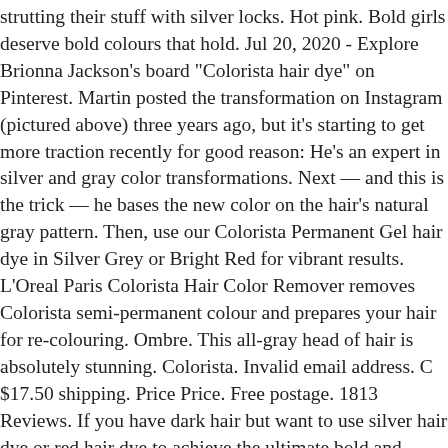strutting their stuff with silver locks. Hot pink. Bold girls deserve bold colours that hold. Jul 20, 2020 - Explore Brionna Jackson's board "Colorista hair dye" on Pinterest. Martin posted the transformation on Instagram (pictured above) three years ago, but it's starting to get more traction recently for good reason: He's an expert in silver and gray color transformations. Next — and this is the trick — he bases the new color on the hair's natural gray pattern. Then, use our Colorista Permanent Gel hair dye in Silver Grey or Bright Red for vibrant results. L'Oreal Paris Colorista Hair Color Remover removes Colorista semi-permanent colour and prepares your hair for re-colouring. Ombre. This all-gray head of hair is absolutely stunning. Colorista. Invalid email address. C $17.50 shipping. Price Price. Free postage. 1813 Reviews. If you have dark hair but want to use silver hair dye or red hair dye to achieve the ultimate bold and vibrant colour, you may need also to bleach your hair with a bleach such as our Colorista Effect Bleach. He then re-creates that pattern for the full head of hair. Shop products online or in store today. However, when you buy something through our retail links, we may earn an affiliate commission. Designed with pure dyes for a high